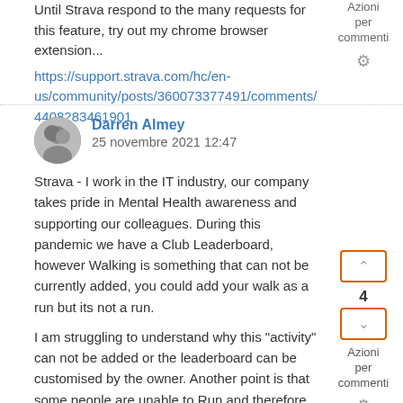Until Strava respond to the many requests for this feature, try out my chrome browser extension...
https://support.strava.com/hc/en-us/community/posts/360073377491/comments/4408283461901
Azioni per commenti
Darren Almey
25 novembre 2021 12:47
Strava -  I work in the IT industry, our company takes pride in Mental Health awareness and supporting our colleagues.  During this pandemic we have a Club Leaderboard, however Walking is something that can not be currently added, you could add your walk as a run but its not a run.
I am struggling to understand why this "activity" can not be added or the leaderboard can be customised by the owner.  Another point is that some people are unable to Run and therefore chose to walk, so please have a rethink, how you could recode your website and app and drop a new release that would accommodate your paying customers requests.
beluga bob  thank you for coming up with a workaround, which I hope Strava takes note off. Sadly I am unable to use this due to it
4
Azioni per commenti